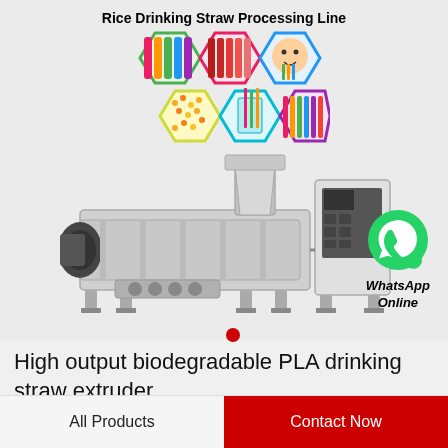[Figure (infographic): Rice Drinking Straw Processing Line banner with hexagonal grid of product photos (colorful straws, rice grains, child with straws) and industrial extruder machine below, plus WhatsApp Online badge]
High output biodegradable PLA drinking straw extruder
All Products
Contact Now